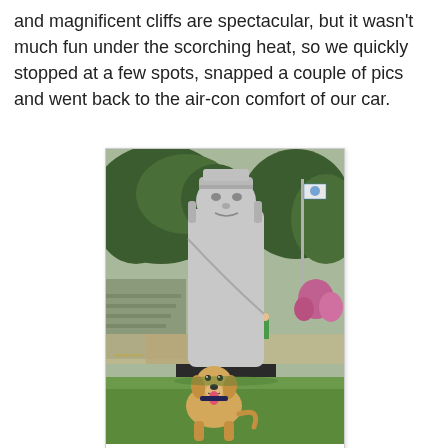and magnificent cliffs are spectacular, but it wasn't much fun under the scorching heat, so we quickly stopped at a few spots, snapped a couple of pics and went back to the air-con comfort of our car.
[Figure (photo): A large traditional Korean stone statue (Dol hareubang or similar carved granite figure) in an outdoor garden setting, with a golden/yellow Labrador-type dog sitting in front of it on green grass. Trees, flowers, steps, and a flagpole with a blue-and-white flag are visible in the background.]